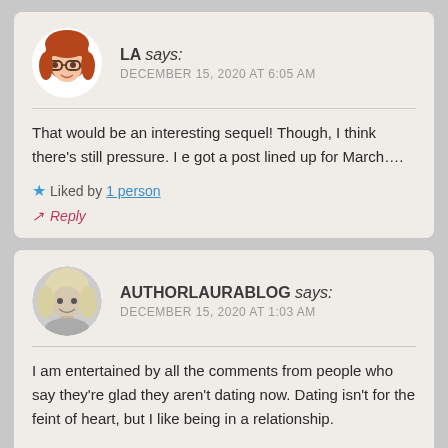LA says: DECEMBER 15, 2020 AT 6:05 AM
That would be an interesting sequel! Though, I think there's still pressure. I e got a post lined up for March….
Liked by 1 person
Reply
AUTHORLAURABLOG says: DECEMBER 15, 2020 AT 1:03 AM
I am entertained by all the comments from people who say they're glad they aren't dating now. Dating isn't for the feint of heart, but I like being in a relationship.